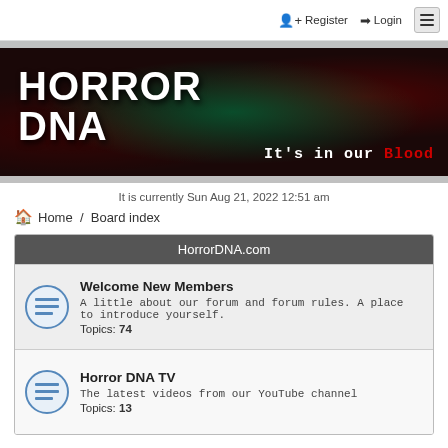Register  Login
[Figure (illustration): HorrorDNA banner with dark background, green atmospheric glow, red blood splatter. White bold text: HORROR DNA. Tagline: It's in our Blood (Blood in red).]
It is currently Sun Aug 21, 2022 12:51 am
Home / Board index
HorrorDNA.com
Welcome New Members
A little about our forum and forum rules. A place to introduce yourself.
Topics: 74
Horror DNA TV
The latest videos from our YouTube channel
Topics: 13